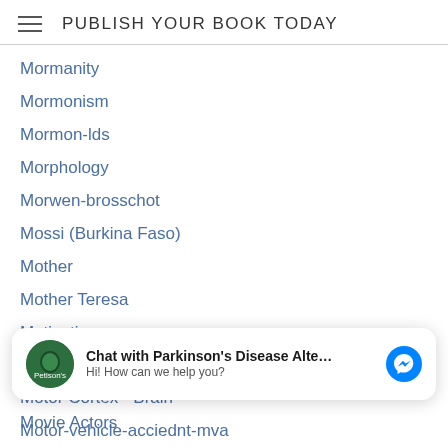PUBLISH YOUR BOOK TODAY
Mormanity
Mormonism
Mormon-lds
Morphology
Morwen-brosschot
Mossi (Burkina Faso)
Mother
Mother Teresa
Motivation
Motor-control
Motor Cortex - Brain
Motor-vehicle-acciednt-mva
Mountain Climbing
Chat with Parkinson's Disease Alte... Hi! How can we help you?
Movie Actors